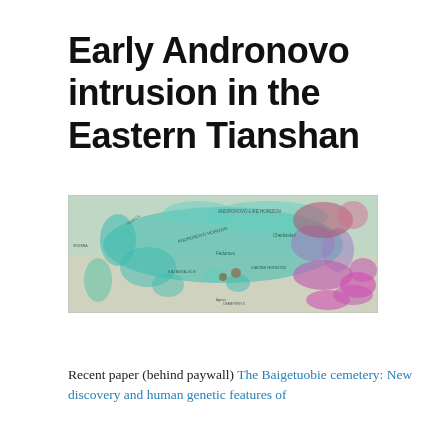Early Andronovo intrusion in the Eastern Tianshan
[Figure (map): A colorful archaeological/genetic map showing the Andronovo Horizon, Andronovo-Like Horizon, Federovo, Cherkaskul, Kazaksa-VLG, Xiaone Horizon zones, and Cemetery II locations across Central Asia, with teal, blue, purple, and magenta colored regions overlaid on a terrain background.]
Recent paper (behind paywall) The Baigetuobie cemetery: New discovery and human genetic features of